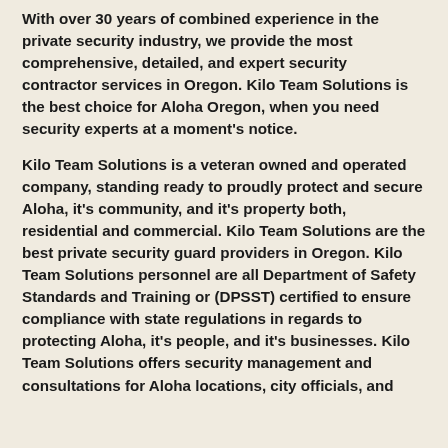With over 30 years of combined experience in the private security industry, we provide the most comprehensive, detailed, and expert security contractor services in Oregon. Kilo Team Solutions is the best choice for Aloha Oregon, when you need security experts at a moment's notice.
Kilo Team Solutions is a veteran owned and operated company, standing ready to proudly protect and secure Aloha, it's community, and it's property both, residential and commercial. Kilo Team Solutions are the best private security guard providers in Oregon. Kilo Team Solutions personnel are all Department of Safety Standards and Training or (DPSST) certified to ensure compliance with state regulations in regards to protecting Aloha, it's people, and it's businesses. Kilo Team Solutions offers security management and consultations for Aloha locations, city officials, and